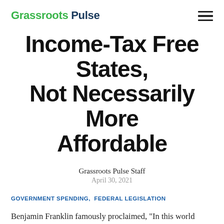Grassroots Pulse
Income-Tax Free States, Not Necessarily More Affordable
Grassroots Pulse Staff
April 30, 2021
GOVERNMENT SPENDING,  FEDERAL LEGISLATION
Benjamin Franklin famously proclaimed, "In this world nothing is certain but death and taxes." And each April, the citizens of America are reminded of the eternal